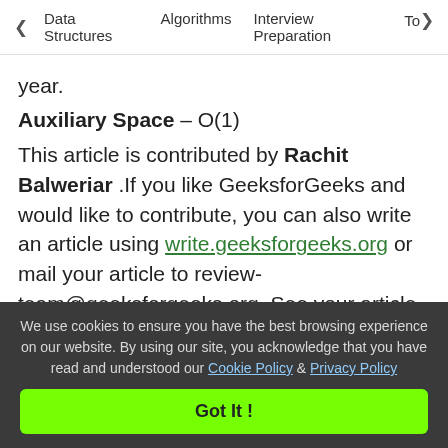< Data Structures   Algorithms   Interview Preparation   To>
year.
Auxiliary Space – O(1)
This article is contributed by Rachit Balweriar .If you like GeeksforGeeks and would like to contribute, you can also write an article using write.geeksforgeeks.org or mail your article to review-team@geeksforgeeks.org. See your article appearing on the GeeksforGeeks main page and help other Geeks.
Please write comments if you find anything
We use cookies to ensure you have the best browsing experience on our website. By using our site, you acknowledge that you have read and understood our Cookie Policy & Privacy Policy
Got It !